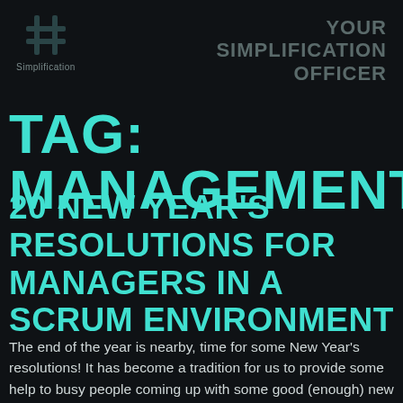YOUR SIMPLIFICATION OFFICER
[Figure (logo): Hash/pound sign logo with text 'Simplification' below it]
TAG: MANAGEMENT
20 NEW YEAR'S RESOLUTIONS FOR MANAGERS IN A SCRUM ENVIRONMENT
The end of the year is nearby, time for some New Year's resolutions! It has become a tradition for us to provide some help to busy people coming up with some good (enough) new year's resolutions. This year we want to support Managers out there struggling to survive